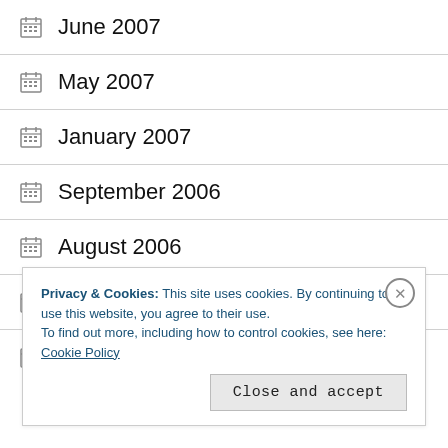June 2007
May 2007
January 2007
September 2006
August 2006
July 2006
April 2006
Privacy & Cookies: This site uses cookies. By continuing to use this website, you agree to their use.
To find out more, including how to control cookies, see here: Cookie Policy
Close and accept